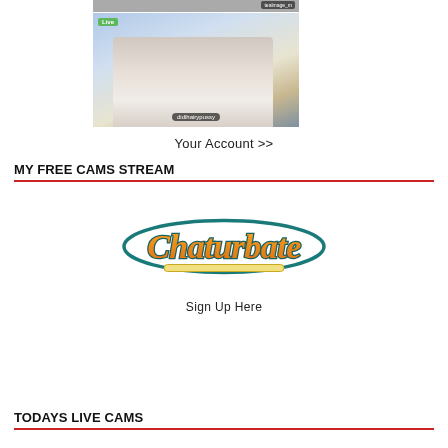[Figure (screenshot): Cropped live cam thumbnail strip at top with username tag]
[Figure (photo): Live cam stream thumbnail showing woman outdoors with 'Live' badge and username 'didihairypussy']
Your Account >>
MY FREE CAMS STREAM
[Figure (logo): Chaturbate logo with orange and gold script lettering on teal outline, with underline flourish]
Sign Up Here
TODAYS LIVE CAMS